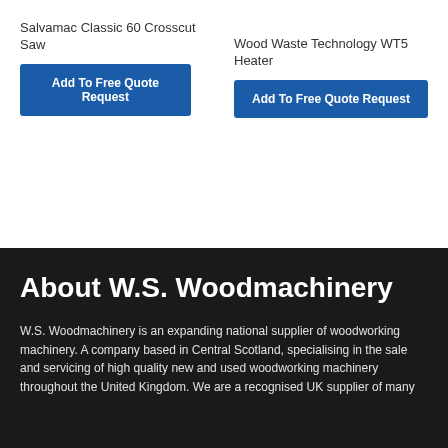Salvamac Classic 60 Crosscut Saw
Add To Free Quote Request
Wood Waste Technology WT5 Heater
Add To Free Quote Request
About W.S. Woodmachinery
W.S. Woodmachinery is an expanding national supplier of woodworking machinery. A company based in Central Scotland, specialising in the sale and servicing of high quality new and used woodworking machinery throughout the United Kingdom. We are a recognised UK supplier of many